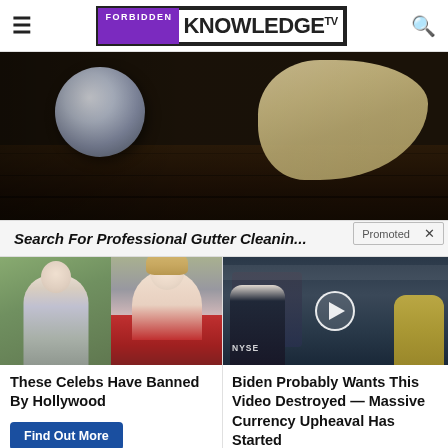Forbidden Knowledge TV
[Figure (photo): Close-up of a gloved hand cleaning or polishing a metal ball on a dark wooden railing]
Search For Professional Gutter Cleanin...
Promoted ×
[Figure (photo): Two celebrity women: one wearing casual clothes outdoors, one in a red top]
These Celebs Have Banned By Hollywood
Find Out More
[Figure (screenshot): Video thumbnail showing men at NYSE stock exchange, with play button overlay]
Biden Probably Wants This Video Destroyed — Massive Currency Upheaval Has Started
Watch The Video